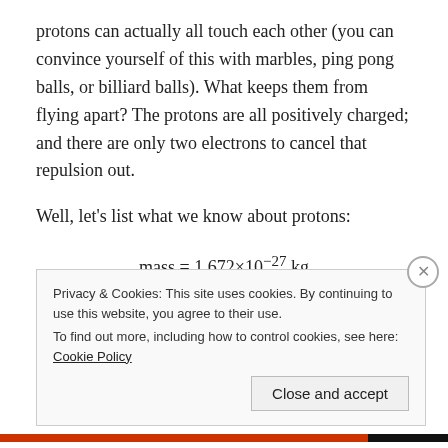protons can actually all touch each other (you can convince yourself of this with marbles, ping pong balls, or billiard balls). What keeps them from flying apart? The protons are all positively charged; and there are only two electrons to cancel that repulsion out.
Well, let's list what we know about protons:
Privacy & Cookies: This site uses cookies. By continuing to use this website, you agree to their use.
To find out more, including how to control cookies, see here: Cookie Policy